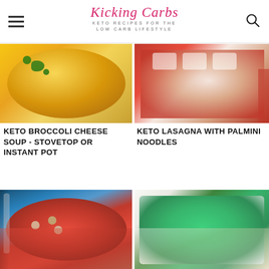Kicking Carbs — KETO RECIPES FOR THE LOW CARB LIFESTYLE
[Figure (photo): Bowl of keto broccoli cheese soup with yellow cheesy broth and green broccoli florets]
[Figure (photo): Keto lasagna with palmini noodles in a red baking dish, topped with melted cheese]
KETO BROCCOLI CHEESE SOUP - STOVETOP OR INSTANT POT
KETO LASAGNA WITH PALMINI NOODLES
[Figure (photo): Cast iron skillet with meatballs in red tomato sauce on a blue cloth background]
[Figure (photo): White baking dish filled with broccoli casserole topped with cheese and seasoning]
[Figure (photo): Partially visible food dish at bottom left, faded/overlaid]
[Figure (photo): Partially visible food dish at bottom right, faded/overlaid]